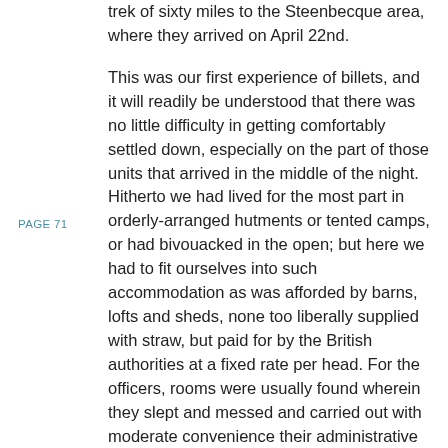trek of sixty miles to the Steenbecque area, where they arrived on April 22nd.
PAGE 71
This was our first experience of billets, and it will readily be understood that there was no little difficulty in getting comfortably settled down, especially on the part of those units that arrived in the middle of the night. Hitherto we had lived for the most part in orderly-arranged hutments or tented camps, or had bivouacked in the open; but here we had to fit ourselves into such accommodation as was afforded by barns, lofts and sheds, none too liberally supplied with straw, but paid for by the British authorities at a fixed rate per head. For the officers, rooms were usually found wherein they slept and messed and carried out with moderate convenience their administrative duties. The